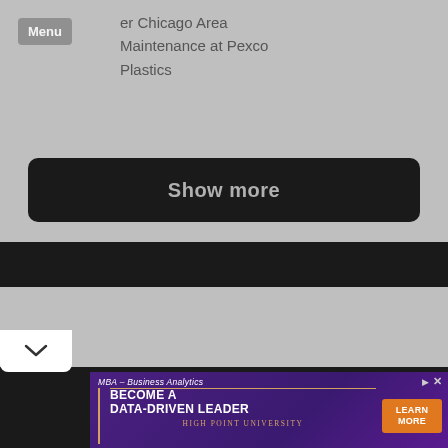er Chicago Area Maintenance at Pexco Plastics
[Figure (screenshot): Show more button on dark background within a card UI]
[Figure (screenshot): Bottom card section with chevron/collapse button]
[Figure (screenshot): Advertisement banner for High Point University MBA Business Analytics program with LEARN MORE CTA button]